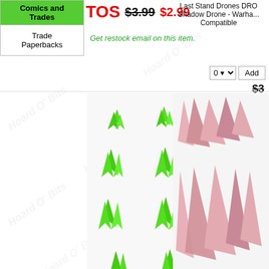Comics and Trades
Trade Paperbacks
TOS  $3.99 $2.99
Get restock email on this item.
Last Stand Drones DRO Shadow Drone - Warhammer Compatible
[Figure (photo): Green plastic crystal/plant miniature pieces arranged in a grid - multiple small green opaque crystal garden pieces]
Last Stand Crystal Garden CRY013 - Crystals Opaque Green - Small
TOS  $5.49 $4.11
Get restock email on this item.
[Figure (photo): Pink/rose colored crystal miniature pieces - opaque pink crystal garden pieces]
Last Stand Crystal Garden Crystals Opaque Pink
[Figure (photo): Dark grey/slate colored crystal miniature pieces - various sizes of grey opaque crystal garden pieces]
[Figure (photo): Dark green/grey small crystal miniature pieces arranged in a cluster]